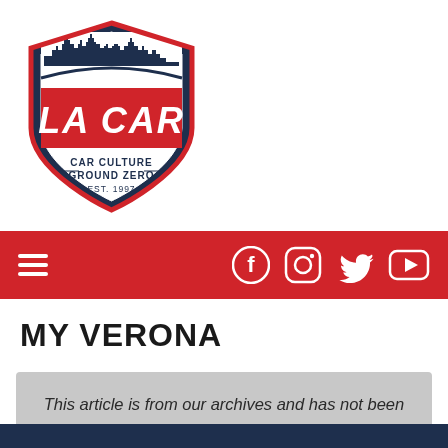[Figure (logo): LA CAR shield logo - Car Culture Ground Zero, Est. 1997. Shield shape with dark navy border, city skyline silhouette at top, red banner with 'LA CAR' text in bold red, and 'CAR CULTURE GROUND ZERO' and 'EST. 1997' text below.]
[Figure (infographic): Red navigation bar with hamburger menu icon on left and social media icons (Facebook, Instagram, Twitter, YouTube) on right in white.]
MY VERONA
This article is from our archives and has not been updated and integrated with our "new" site yet... Even so, it's still awesome - so keep reading!